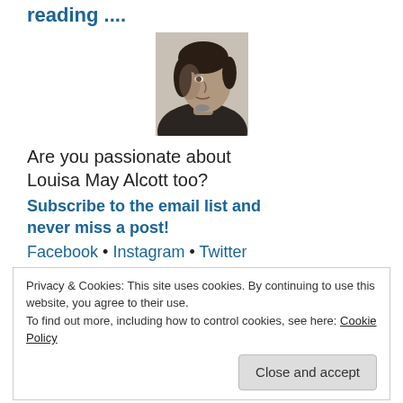reading ....
[Figure (photo): Black and white portrait photograph of Louisa May Alcott, a woman with dark hair in profile/three-quarter view]
Are you passionate about Louisa May Alcott too?
Subscribe to the email list and never miss a post!
Facebook • Instagram • Twitter
Privacy & Cookies: This site uses cookies. By continuing to use this website, you agree to their use.
To find out more, including how to control cookies, see here: Cookie Policy
Close and accept
Find Susan's books here on Amazon